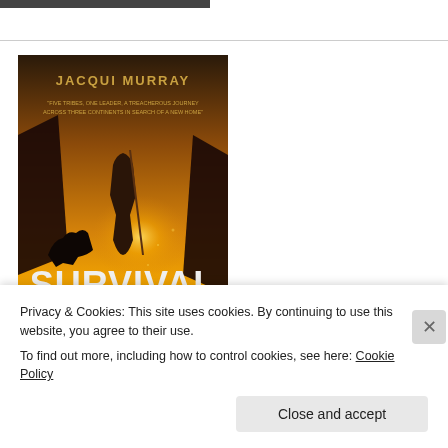[Figure (photo): Dark strip at top of page, partial view of an image above the fold]
[Figure (illustration): Book cover: 'Survival of the...' by Jacqui Murray. Shows a prehistoric woman standing on a rock with a wolf by her side against a dramatic sunset sky. Tagline: 'Five tribes, one leader, a treacherous journey across three continents in search of a new home']
Privacy & Cookies: This site uses cookies. By continuing to use this website, you agree to their use.
To find out more, including how to control cookies, see here: Cookie Policy
Close and accept